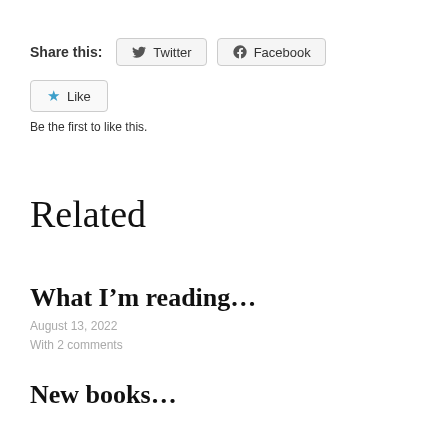Share this: Twitter Facebook
Like
Be the first to like this.
Related
What I'm reading…
August 13, 2022
With 2 comments
New books…